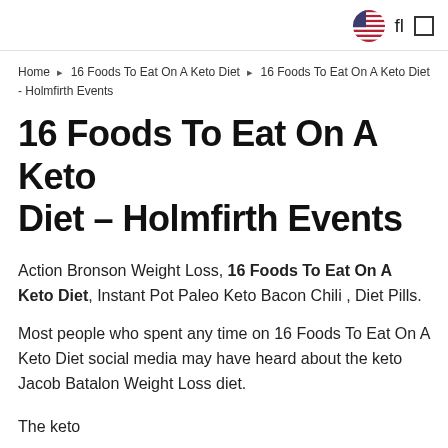🇺🇸 fl □
Home ❯ 16 Foods To Eat On A Keto Diet ❯ 16 Foods To Eat On A Keto Diet - Holmfirth Events
16 Foods To Eat On A Keto Diet – Holmfirth Events
Action Bronson Weight Loss, 16 Foods To Eat On A Keto Diet, Instant Pot Paleo Keto Bacon Chili , Diet Pills.
Most people who spent any time on 16 Foods To Eat On A Keto Diet social media may have heard about the keto Jacob Batalon Weight Loss diet.
The keto...